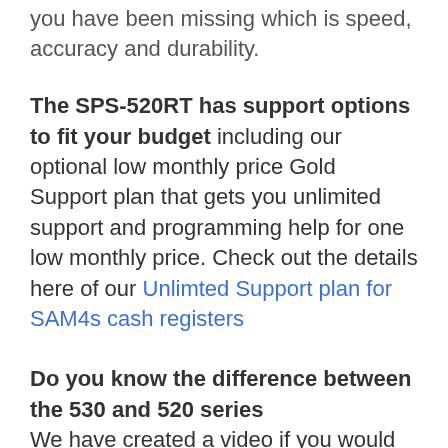you have been missing which is speed, accuracy and durability.
The SPS-520RT has support options to fit your budget including our optional low monthly price Gold Support plan that gets you unlimited support and programming help for one low monthly price. Check out the details here of our Unlimted Support plan for SAM4s cash registers
Do you know the difference between the 530 and 520 series We have created a video if you would like to see the difference